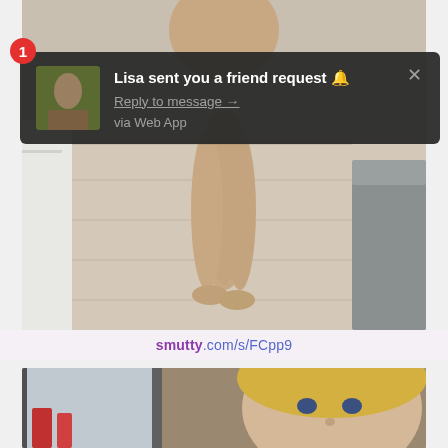[Figure (screenshot): Background photo showing person's legs and feet on a light wood floor, with grey furniture visible on the right side.]
1 Lisa sent you a friend request 🔔 Reply to message → via Web App
smutty.com/s/FCpp9
[Figure (photo): Partial photo of a blonde woman's face visible at the bottom of the page.]